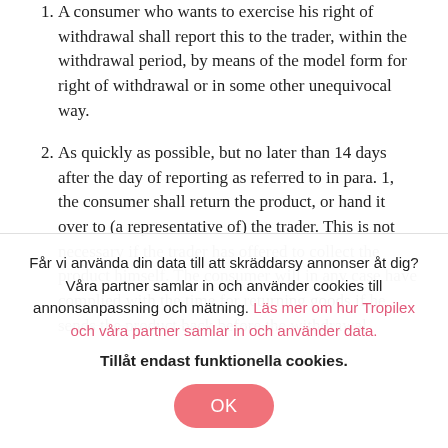A consumer who wants to exercise his right of withdrawal shall report this to the trader, within the withdrawal period, by means of the model form for right of withdrawal or in some other unequivocal way.
As quickly as possible, but no later than 14 days after the day of reporting as referred to in para. 1, the consumer shall return the product, or hand it over to (a representative of) the trader. This is not necessary if the trader has offered to collect the product himself. The consumer will in any case have complied with the time for returning goods if he sends the product back before the withdrawal
Får vi använda din data till att skräddarsy annonser åt dig? Våra partner samlar in och använder cookies till annonsanpassning och mätning. Läs mer om hur Tropilex och våra partner samlar in och använder data.
Tillåt endast funktionella cookies.
OK